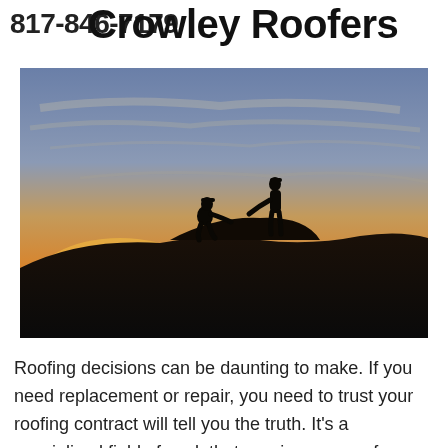817-846-7179
Crowley Roofers
[Figure (photo): Silhouette of two roofers on a rooftop at sunset, one kneeling and one standing, reaching toward each other against a dramatic orange and blue sky.]
Roofing decisions can be daunting to make. If you need replacement or repair, you need to trust your roofing contract will tell you the truth. It's a specialized field of work that requires years of experience and skill